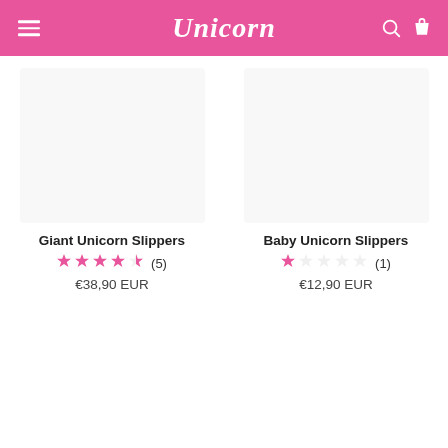Unicorn
Giant Unicorn Slippers
★★★★☆ (5)
€38,90 EUR
Baby Unicorn Slippers
★☆☆☆☆ (1)
€12,90 EUR